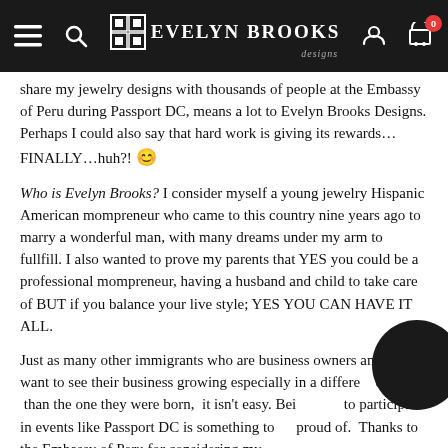Evelyn Brooks Designs
share my jewelry designs with thousands of people at the Embassy of Peru during Passport DC, means a lot to Evelyn Brooks Designs. Perhaps I could also say that hard work is giving its rewards…FINALLY…huh?! 😊
Who is Evelyn Brooks? I consider myself a young jewelry Hispanic American mompreneur who came to this country nine years ago to marry a wonderful man, with many dreams under my arm to fullfill. I also wanted to prove my parents that YES you could be a professional mompreneur, having a husband and child to take care of BUT if you balance your live style; YES YOU CAN HAVE IT ALL.
Just as many other immigrants who are business owners and who want to see their business growing especially in a different country than the one they were born, it isn't easy. Being able to participate in events like Passport DC is something to be proud of. Thanks to the Embassy of Peru for considering my